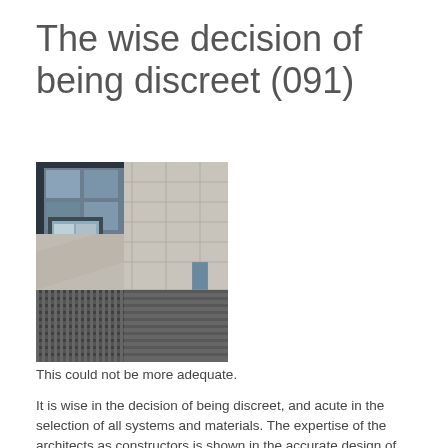The wise decision of being discreet (091)
[Figure (photo): Close-up architectural photo of a building facade showing glass panels, concrete/stone cladding with grid pattern, and horizontal metallic louvers or blinds at the bottom. The photo captures multiple facade systems meeting at various joints.]
This could not be more adequate.
It is wise in the decision of being discreet, and acute in the selection of all systems and materials. The expertise of the architects as constructors is shown in the accurate design of all the points of relation between the systems